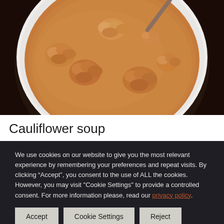[Figure (photo): A white bowl of creamy cauliflower soup with florets visible, photographed from above on a dark wooden surface.]
Cauliflower soup
We use cookies on our website to give you the most relevant experience by remembering your preferences and repeat visits. By clicking “Accept”, you consent to the use of ALL the cookies. However, you may visit "Cookie Settings" to provide a controlled consent. For more information please, read our privacy policy.
Accept | Cookie Settings | Reject